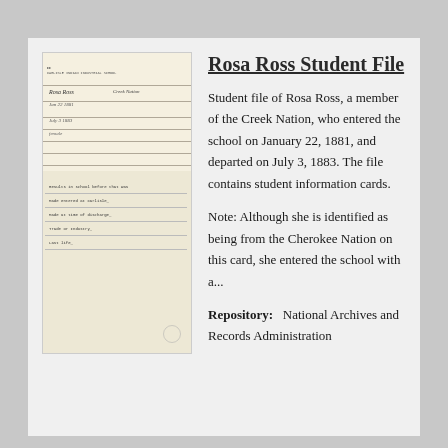[Figure (photo): Scanned student file card for Rosa Ross, handwritten and typed document on yellowed paper with ruled lines]
Rosa Ross Student File
Student file of Rosa Ross, a member of the Creek Nation, who entered the school on January 22, 1881, and departed on July 3, 1883. The file contains student information cards.
Note: Although she is identified as being from the Cherokee Nation on this card, she entered the school with a...
Repository:   National Archives and Records Administration